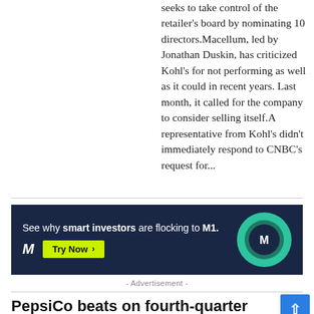seeks to take control of the retailer's board by nominating 10 directors.Macellum, led by Jonathan Duskin, has criticized Kohl's for not performing as well as it could in recent years. Last month, it called for the company to consider selling itself.A representative from Kohl's didn't immediately respond to CNBC's request for...
[Figure (other): M1 Finance advertisement banner with dark navy background. Text reads 'See why smart investors are flocking to M1.' with a yellow 'Try Now >' button, M logo on left and circular M1 logo graphic on right.]
- Advertisement -
PepsiCo beats on fourth-quarter earnings, but warns of cost pressure